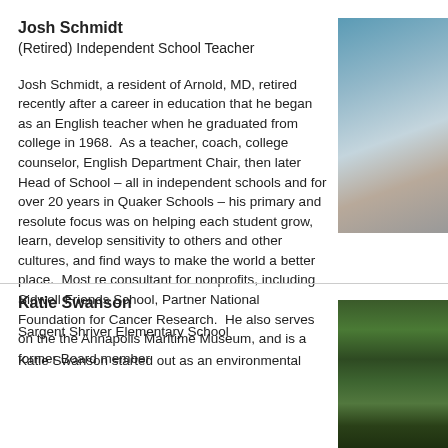Josh Schmidt
(Retired) Independent School Teacher
Josh Schmidt, a resident of Arnold, MD, retired recently after a career in education that he began as an English teacher when he graduated from college in 1968.  As a teacher, coach, college counselor, English Department Chair, then later Head of School – all in independent schools and for over 20 years in Quaker Schools – his primary and resolute focus was on helping each student grow, learn, develop sensitivity to others and other cultures, and find ways to make the world a better place.  Most re consultant for nonprofits, including Sidwell Friends School, Partner National Foundation for Cancer Research.  He also serves on the the Annapolis Maritime Museum, and is a former Board member
[Figure (photo): Outdoor photo of Josh Schmidt on water, blue sky background]
Katie Swanson
Sargent Shriver Elementary School
Katie Swanson started out as an environmental
[Figure (photo): Photo of green bamboo forest]